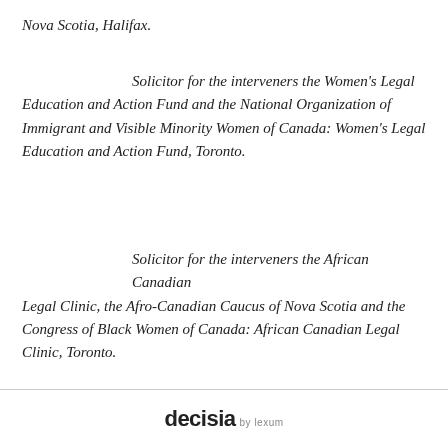Nova Scotia, Halifax.
Solicitor for the interveners the Women's Legal Education and Action Fund and the National Organization of Immigrant and Visible Minority Women of Canada: Women's Legal Education and Action Fund, Toronto.
Solicitor for the interveners the African Canadian Legal Clinic, the Afro-Canadian Caucus of Nova Scotia and the Congress of Black Women of Canada: African Canadian Legal Clinic, Toronto.
decisia by lexum